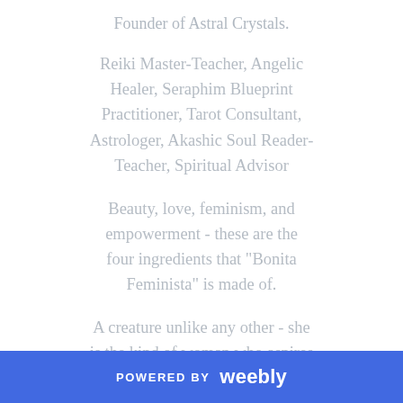Founder of Astral Crystals.
Reiki Master-Teacher, Angelic Healer, Seraphim Blueprint Practitioner, Tarot Consultant, Astrologer, Akashic Soul Reader-Teacher, Spiritual Advisor
Beauty, love, feminism, and empowerment - these are the four ingredients that "Bonita Feminista" is made of.
A creature unlike any other - she is the kind of woman who aspires to achieve spiritual enlightenment and awakening, to
POWERED BY weebly